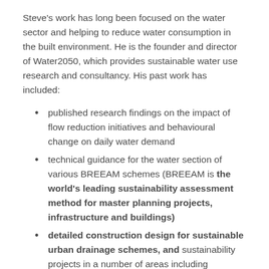Steve's work has long been focused on the water sector and helping to reduce water consumption in the built environment. He is the founder and director of Water2050, which provides sustainable water use research and consultancy. His past work has included:
published research findings on the impact of flow reduction initiatives and behavioural change on daily water demand
technical guidance for the water section of various BREEAM schemes (BREEAM is the world's leading sustainability assessment method for master planning projects, infrastructure and buildings)
detailed construction design for sustainable urban drainage schemes, and sustainability projects in a number of areas including renewable